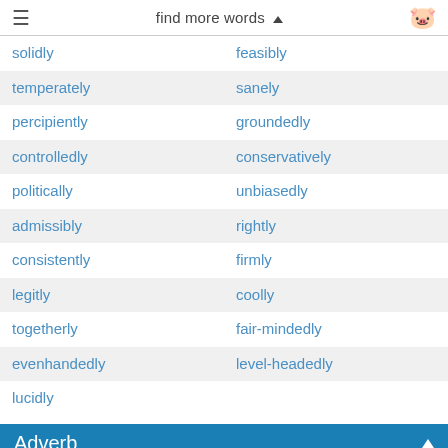≡   find more words ▲
solidly   feasibly
temperately   sanely
percipiently   groundedly
controlledly   conservatively
politically   unbiasedly
admissibly   rightly
consistently   firmly
legitly   coolly
togetherly   fair-mindedly
evenhandedly   level-headedly
lucidly
Adverb
Adverb for capable of making fine distinctions